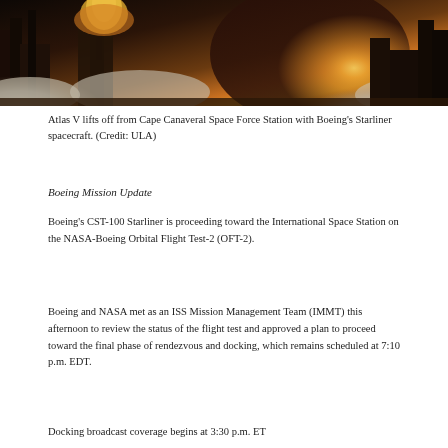[Figure (photo): Atlas V rocket lifting off from Cape Canaveral Space Force Station with large plumes of smoke and bright engine fire, golden sunset sky in background]
Atlas V lifts off from Cape Canaveral Space Force Station with Boeing’s Starliner spacecraft. (Credit: ULA)
Boeing Mission Update
Boeing’s CST-100 Starliner is proceeding toward the International Space Station on the NASA-Boeing Orbital Flight Test-2 (OFT-2).
Boeing and NASA met as an ISS Mission Management Team (IMMT) this afternoon to review the status of the flight test and approved a plan to proceed toward the final phase of rendezvous and docking, which remains scheduled at 7:10 p.m. EDT.
Docking broadcast coverage begins at 3:30 p.m. ET